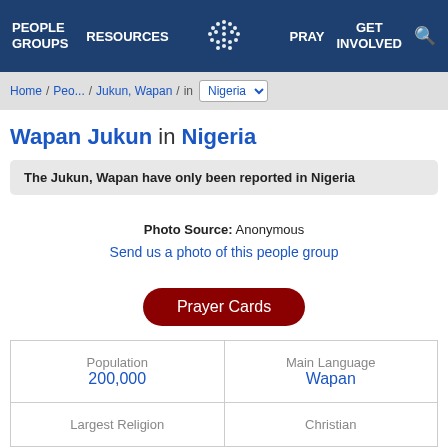PEOPLE GROUPS   RESOURCES   PRAY   GET INVOLVED
Home / Peo... / Jukun, Wapan / in Nigeria
Wapan Jukun in Nigeria
The Jukun, Wapan have only been reported in Nigeria
Photo Source:  Anonymous
Send us a photo of this people group
Prayer Cards
| Population | Main Language |
| --- | --- |
| 200,000 | Wapan |
| Largest Religion | Christian |